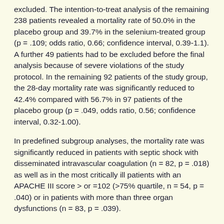excluded. The intention-to-treat analysis of the remaining 238 patients revealed a mortality rate of 50.0% in the placebo group and 39.7% in the selenium-treated group (p = .109; odds ratio, 0.66; confidence interval, 0.39-1.1). A further 49 patients had to be excluded before the final analysis because of severe violations of the study protocol. In the remaining 92 patients of the study group, the 28-day mortality rate was significantly reduced to 42.4% compared with 56.7% in 97 patients of the placebo group (p = .049, odds ratio, 0.56; confidence interval, 0.32-1.00).
In predefined subgroup analyses, the mortality rate was significantly reduced in patients with septic shock with disseminated intravascular coagulation (n = 82, p = .018) as well as in the most critically ill patients with an APACHE III score > or =102 (>75% quartile, n = 54, p = .040) or in patients with more than three organ dysfunctions (n = 83, p = .039).
Whole blood selenium concentrations and